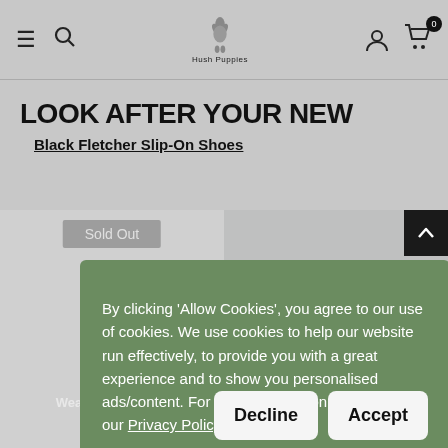Hush Puppies — navigation header with hamburger menu, search, logo, account, and cart (0 items)
LOOK AFTER YOUR NEW
Black Fletcher Slip-On Shoes
[Figure (screenshot): Two product panels side by side: left panel shows a sold-out product (Weather Protector, £12.50), right panel shows Leather Lotion £12.50. A back-to-top arrow button is in the top-right.]
By clicking 'Allow Cookies', you agree to our use of cookies. We use cookies to help our website run effectively, to provide you with a great experience and to show you personalised ads/content. For more information, please read our Privacy Policy
Decline
Accept